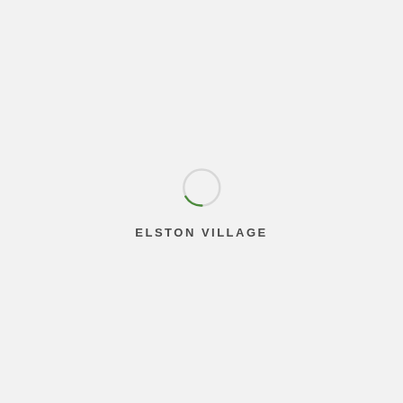[Figure (logo): Elston Village logo: a circular spinner/loading indicator with a thin light gray circle and a green arc segment at the bottom-right, above the text ELSTON VILLAGE]
ELSTON VILLAGE